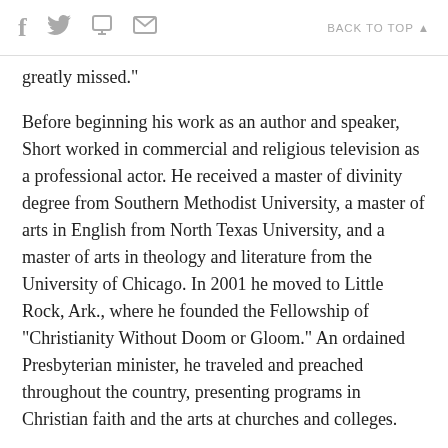f [twitter] [print] [email]   BACK TO TOP ▲
greatly missed."
Before beginning his work as an author and speaker, Short worked in commercial and religious television as a professional actor. He received a master of divinity degree from Southern Methodist University, a master of arts in English from North Texas University, and a master of arts in theology and literature from the University of Chicago. In 2001 he moved to Little Rock, Ark., where he founded the Fellowship of "Christianity Without Doom or Gloom." An ordained Presbyterian minister, he traveled and preached throughout the country, presenting programs in Christian faith and the arts at churches and colleges.
Short's other books include The Parables of Peanuts, (1968), A Time to Be Born--A Time to Die (1973),